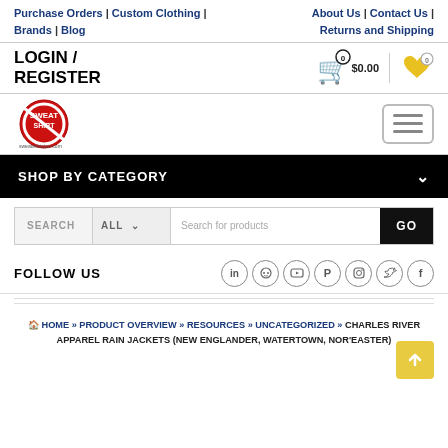Purchase Orders | Custom Clothing | Brands | Blog   About Us | Contact Us | Returns and Shipping
LOGIN / REGISTER   Cart $0.00  Wishlist 0
[Figure (logo): Website logo for sweatshirtston.com — circular red and white emblem]
SHOP BY CATEGORY
SEARCH   ALL   Search for products   GO
FOLLOW US
HOME » PRODUCT OVERVIEW » RESOURCES » UNCATEGORIZED » CHARLES RIVER APPAREL RAIN JACKETS (NEW ENGLANDER, WATERTOWN, NOR'EASTER)